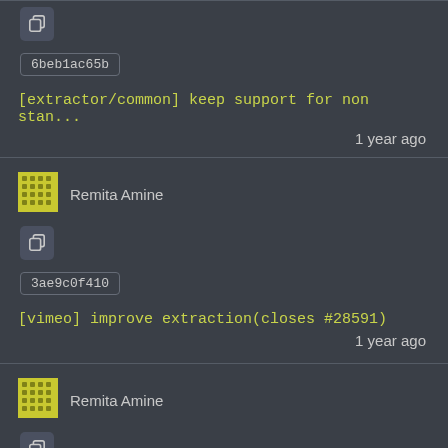[Figure (screenshot): Copy button icon in dark rounded box]
6beb1ac65b
[extractor/common] keep support for non stan...
1 year ago
[Figure (photo): Remita Amine avatar - yellow dotted pattern]
Remita Amine
[Figure (screenshot): Copy button icon in dark rounded box]
3ae9c0f410
[vimeo] improve extraction(closes #28591)
1 year ago
[Figure (photo): Remita Amine avatar - yellow dotted pattern]
Remita Amine
[Figure (screenshot): Copy button icon in dark rounded box]
e165f5641f
[extractor/common] fix JSON-LD VideoObject a...
1 year ago